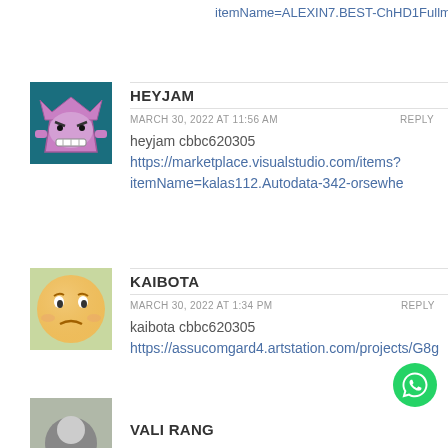itemName=ALEXIN7.BEST-ChHD1FullmkV
HEYJAM
MARCH 30, 2022 AT 11:56 AM
REPLY
heyjam cbbc620305
https://marketplace.visualstudio.com/items?itemName=kalas112.Autodata-342-orsewhe
KAIBOTA
MARCH 30, 2022 AT 1:34 PM
REPLY
kaibota cbbc620305
https://assucomgard4.artstation.com/projects/G8g
VALI RANG